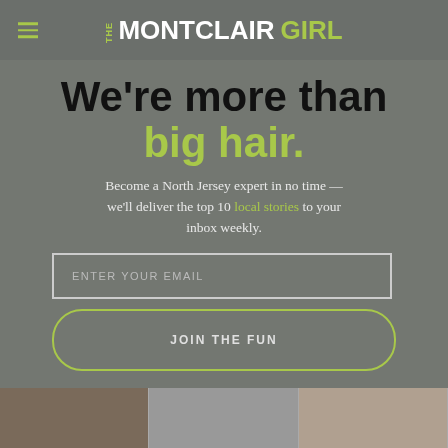THE MONTCLAIR GIRL
We're more than big hair.
Become a North Jersey expert in no time — we'll deliver the top 10 local stories to your inbox weekly.
[Figure (screenshot): Email sign-up form with 'ENTER YOUR EMAIL' input box and 'JOIN THE FUN' button with green border]
[Figure (photo): Bottom strip of three partial lifestyle photos]